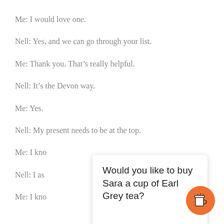Me: I would love one.
Nell: Yes, and we can go through your list.
Me: Thank you. That’s really helpful.
Nell: It’s the Devon way.
Me: Yes.
Nell: My present needs to be at the top.
Me: I kno…
Nell: I as…
Me: I kno…
Would you like to buy Sara a cup of Earl Grey tea?
[Figure (illustration): Orange circular button with a white coffee cup icon]